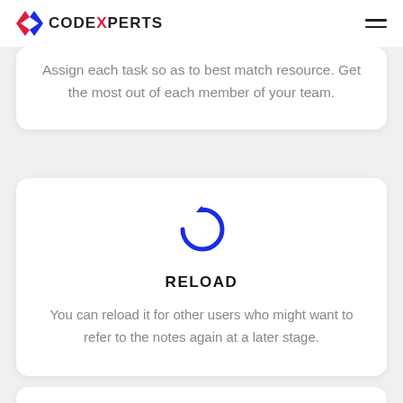CODEXPERTS
Assign each task so as to best match resource. Get the most out of each member of your team.
[Figure (illustration): Circular reload icon in dark blue, open circle with a notch at top-right]
RELOAD
You can reload it for other users who might want to refer to the notes again at a later stage.